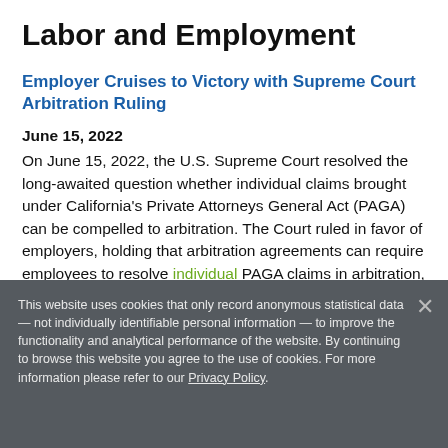Labor and Employment
Employer Cruises to Victory with Supreme Court Arbitration Ruling
June 15, 2022
On June 15, 2022, the U.S. Supreme Court resolved the long-awaited question whether individual claims brought under California’s Private Attorneys General Act (PAGA) can be compelled to arbitration. The Court ruled in favor of employers, holding that arbitration agreements can require employees to resolve individual PAGA claims in arbitration, even if they cannot do the same … Read More
This website uses cookies that only record anonymous statistical data — not individually identifiable personal information — to improve the functionality and analytical performance of the website. By continuing to browse this website you agree to the use of cookies. For more information please refer to our Privacy Policy.